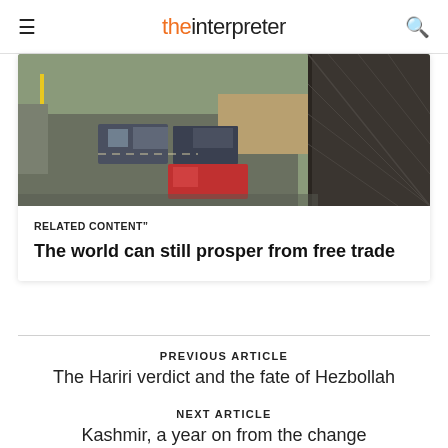the interpreter
[Figure (photo): Aerial view of trucks and shipping containers at a border crossing, with a fence/wall visible on the right side and road infrastructure.]
RELATED CONTENT”
The world can still prosper from free trade
PREVIOUS ARTICLE
The Hariri verdict and the fate of Hezbollah
NEXT ARTICLE
Kashmir, a year on from the change